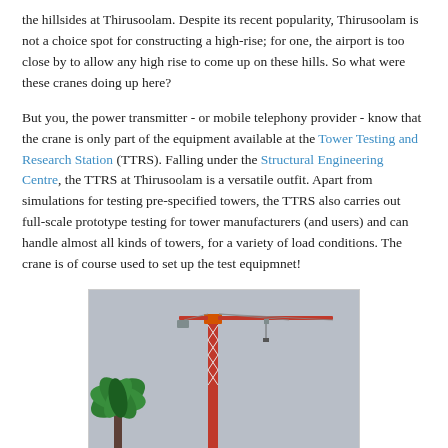the hillsides at Thirusoolam. Despite its recent popularity, Thirusoolam is not a choice spot for constructing a high-rise; for one, the airport is too close by to allow any high rise to come up on these hills. So what were these cranes doing up here?
But you, the power transmitter - or mobile telephony provider - know that the crane is only part of the equipment available at the Tower Testing and Research Station (TTRS). Falling under the Structural Engineering Centre, the TTRS at Thirusoolam is a versatile outfit. Apart from simulations for testing pre-specified towers, the TTRS also carries out full-scale prototype testing for tower manufacturers (and users) and can handle almost all kinds of towers, for a variety of load conditions. The crane is of course used to set up the test equipmnet!
[Figure (photo): Photograph of a tall construction crane with a lattice tower structure and horizontal jib, with a palm tree visible in the foreground against a grey sky.]